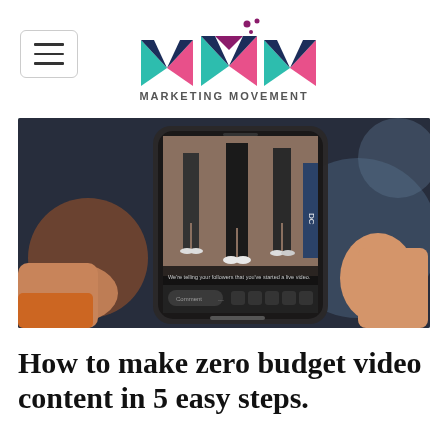MARKETING MOVEMENT
[Figure (photo): A hand holding a smartphone displaying a vertical video (TikTok-style) of people walking, with editing interface visible on screen]
How to make zero budget video content in 5 easy steps.